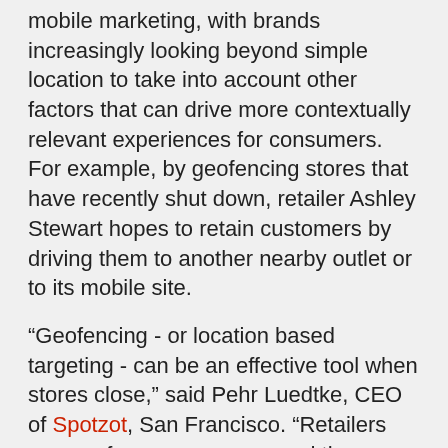mobile marketing, with brands increasingly looking beyond simple location to take into account other factors that can drive more contextually relevant experiences for consumers. For example, by geofencing stores that have recently shut down, retailer Ashley Stewart hopes to retain customers by driving them to another nearby outlet or to its mobile site.
“Geofencing - or location based targeting - can be an effective tool when stores close,” said Pehr Luedtke, CEO of Spotzot, San Francisco. “Retailers can geofence an area around the closed store and alert consumers to nearby locations, and even provide special deals to those consumers if they go to another store.
“It’s a way to maintain loyalty,” he said.
Customer retention
Ashley Stewart recently announced a Chap. 11 bankruptcy restructuring plan that includes the